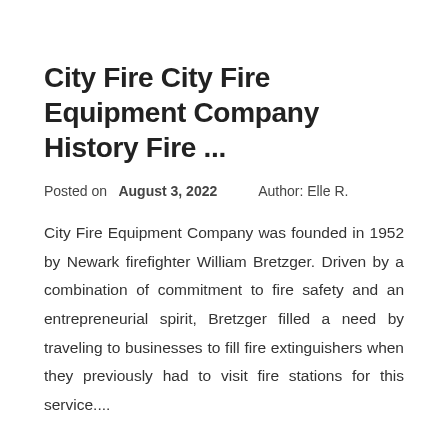City Fire City Fire Equipment Company History Fire ...
Posted on  August 3, 2022     Author: Elle R.
City Fire Equipment Company was founded in 1952 by Newark firefighter William Bretzger. Driven by a combination of commitment to fire safety and an entrepreneurial spirit, Bretzger filled a need by traveling to businesses to fill fire extinguishers when they previously had to visit fire stations for this service....